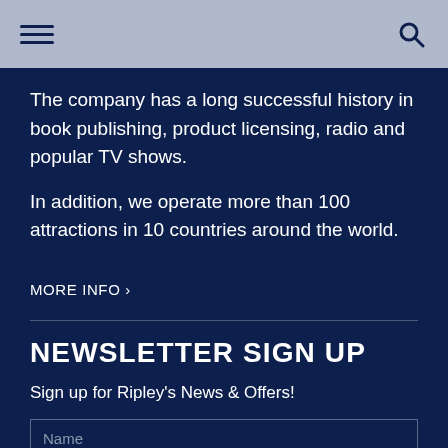[Navigation bar with hamburger menu and search icon]
The company has a long successful history in book publishing, product licensing, radio and popular TV shows.
In addition, we operate more than 100 attractions in 10 countries around the world.
MORE INFO ›
NEWSLETTER SIGN UP
Sign up for Ripley's News & Offers!
Name